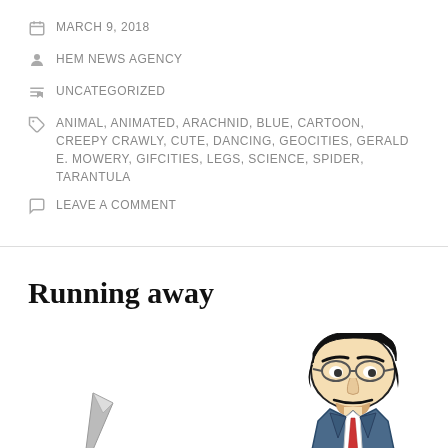MARCH 9, 2018
HEM NEWS AGENCY
UNCATEGORIZED
ANIMAL, ANIMATED, ARACHNID, BLUE, CARTOON, CREEPY CRAWLY, CUTE, DANCING, GEOCITIES, GERALD E. MOWERY, GIFCITIES, LEGS, SCIENCE, SPIDER, TARANTULA
LEAVE A COMMENT
Running away
[Figure (illustration): Animated cartoon illustration of a man in a suit with glasses holding a knife, partially visible, running figure from a Geocities-era GIF]